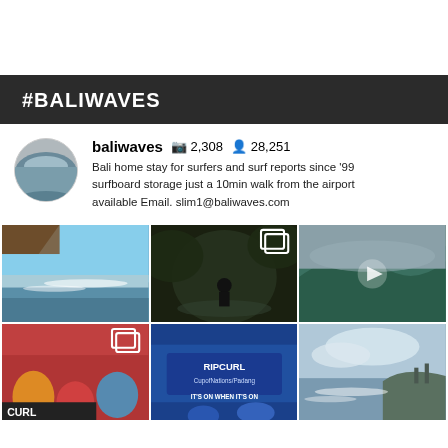#BALIWAVES
baliwaves  📷 2,308  👤 28,251
Bali home stay for surfers and surf reports since '99 surfboard storage just a 10min walk from the airport available Email. slim1@baliwaves.com
[Figure (photo): Grid of 6 Instagram-style photos from baliwaves account showing ocean waves, surfers, Rip Curl event, and coastal scenery in Bali]
[Figure (photo): Profile avatar circular image showing a wave]
[Figure (photo): Beach scene with ocean waves and blue sky, thatched roof in foreground]
[Figure (photo): Surfer sitting on rock in dark forest/jungle, multiple photo icon overlay]
[Figure (photo): Large green barreling wave with play button overlay (video)]
[Figure (photo): Rip Curl event crowd with multiple photo icon overlay]
[Figure (photo): Rip Curl banner/sign: IT'S ON WHEN IT'S ON]
[Figure (photo): Coastal landscape with ocean, clouds and distant structures]